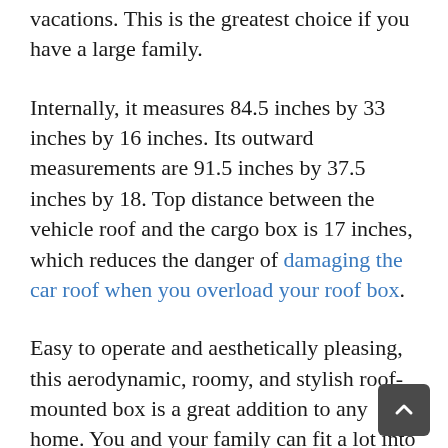vacations. This is the greatest choice if you have a large family.
Internally, it measures 84.5 inches by 33 inches by 16 inches. Its outward measurements are 91.5 inches by 37.5 inches by 18. Top distance between the vehicle roof and the cargo box is 17 inches, which reduces the danger of damaging the car roof when you overload your roof box.
Easy to operate and aesthetically pleasing, this aerodynamic, roomy, and stylish roof-mounted box is a great addition to any home. You and your family can fit a lot into this 55-pound bag that comes in two colors and has a 610-liter volume (or 22-cubic-foot